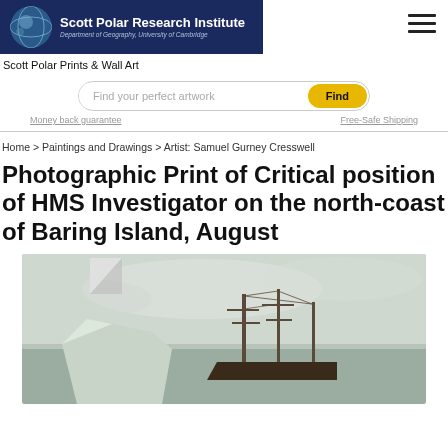[Figure (logo): Scott Polar Research Institute logo banner with globe icon and text 'Department of Geography, University of Cambridge']
Scott Polar Prints & Wall Art
Find your perfect artwork  Find
Money back guarantee  Free-Safe Shipping
Home > Paintings and Drawings > Artist: Samuel Gurney Cresswell
Photographic Print of Critical position of HMS Investigator on the north-coast of Baring Island, August
[Figure (photo): Vintage photographic print showing HMS Investigator ship near ice on the north coast of Baring Island, with masts visible and icy/misty background]